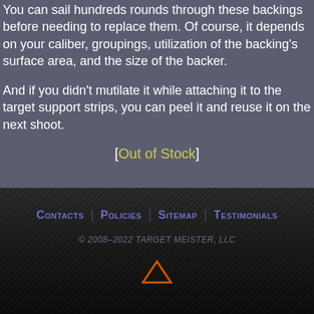You can sail hundreds rounds through these backings before needing to replace them. Of course, it depends on your caliber, groupings, utilization of the backing's surface area, and the size of the backer.
And if you didn't mutilate it while attaching it to the target support strips, you can peel it and reuse it on the next shoot.
[Out of Stock]
Contacts | Policies | Sitemap | Testimonials
© 2008–2022 TARGET MEISTER, LLC